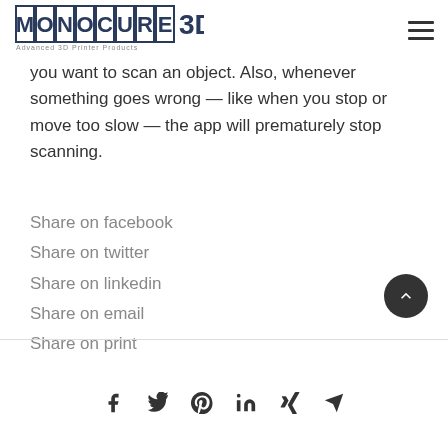Monocure 3D — Advanced 3D Printer Products
you want to scan an object. Also, whenever something goes wrong — like when you stop or move too slow — the app will prematurely stop scanning.
Share on facebook
Share on twitter
Share on linkedin
Share on email
Share on print
Social media icons: facebook, twitter, pinterest, linkedin, xing, email